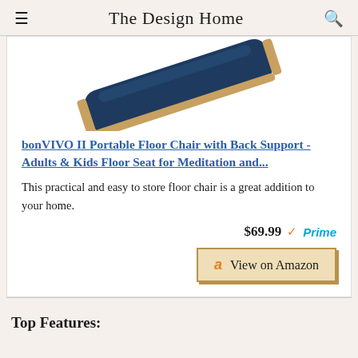The Design Home
[Figure (photo): Partial view of a blue folding floor chair with wooden edges, shown at an angle against a white background]
bonVIVO II Portable Floor Chair with Back Support - Adults & Kids Floor Seat for Meditation and...
This practical and easy to store floor chair is a great addition to your home.
$69.99 ✓Prime
View on Amazon
Top Features: